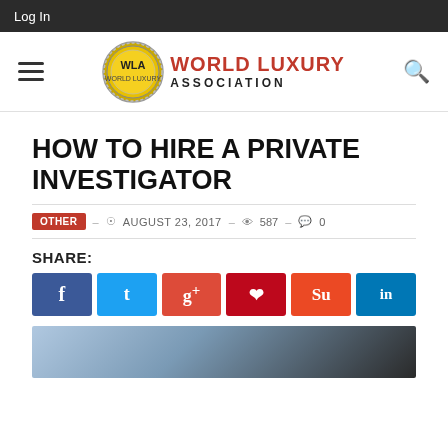Log In
[Figure (logo): World Luxury Association logo with WLA badge and red text]
HOW TO HIRE A PRIVATE INVESTIGATOR
OTHER – AUGUST 23, 2017 – 587 – 0
SHARE:
[Figure (infographic): Social share buttons: Facebook, Twitter, Google+, Pinterest, StumbleUpon, LinkedIn]
[Figure (photo): Partial photo at bottom of page, blue and dark tones]